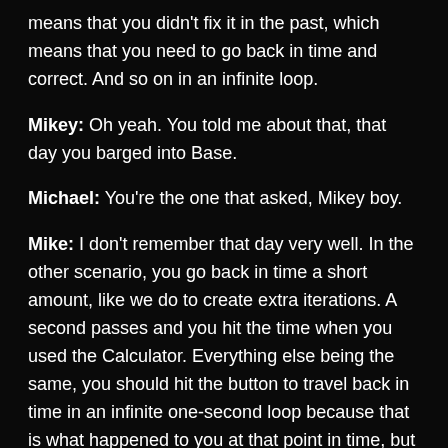means that you didn't fix it in the past, which means that you need to go back in time and correct. And so on in an infinite loop.
Mikey: Oh yeah. You told me about that, that day you barged into Base.
Michael: You're the one that asked, Mikey boy.
Mike: I don't remember that day very well. In the other scenario, you go back in time a short amount, like we do to create extra iterations. A second passes and you hit the time when you used the Calculator. Everything else being the same, you should hit the button to travel back in time in an infinite one-second loop because that is what happened to you at that point in time, but you don't. The Calculator somehow gets around these paradoxical results. Edgar thought it might have something to do with the